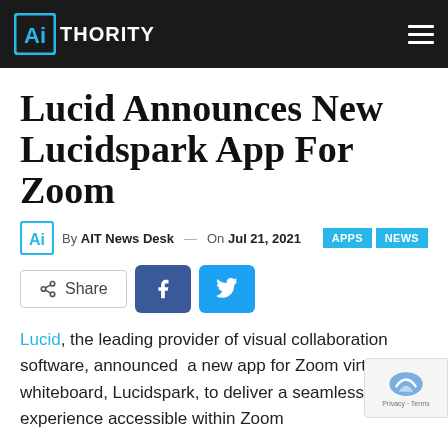AIThority
Lucid Announces New Lucidspark App For Zoom
By AIT News Desk — On Jul 21, 2021   APPS  NEWS
[Figure (other): Share buttons: Share, Facebook, Twitter]
Lucid, the leading provider of visual collaboration software, announced  a new app for Zoom virtual whiteboard, Lucidspark, to deliver a seamless experience accessible within Zoom